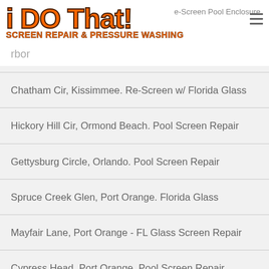i DO That! Screen Repair & Pressure Washing — Re-Screen Pool Enclosure
Chatham Cir, Kissimmee. Re-Screen w/ Florida Glass
Hickory Hill Cir, Ormond Beach. Pool Screen Repair
Gettysburg Circle, Orlando. Pool Screen Repair
Spruce Creek Glen, Port Orange. Florida Glass
Mayfair Lane, Port Orange - FL Glass Screen Repair
Cypress Head, Port Orange. Pool Screen Repair